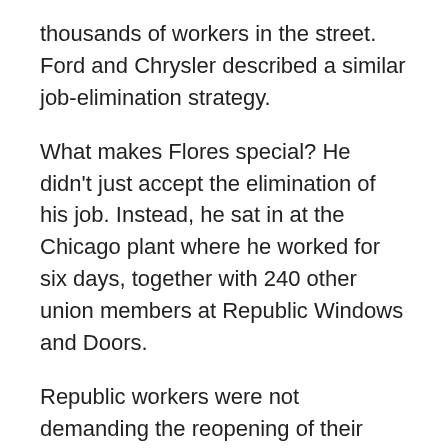thousands of workers in the street. Ford and Chrysler described a similar job-elimination strategy.
What makes Flores special? He didn't just accept the elimination of his job. Instead, he sat in at the Chicago plant where he worked for six days, together with 240 other union members at Republic Windows and Doors.
Republic workers were not demanding the reopening of their closed factory. They've been fighting for severance and benefits to help them survive the unemployment they know awaits them. Yet their occupation can't help but raise deeper questions about the right of workers to their jobs.
Can a return to the militant tactics of direct action, that produced the greatest gains in union membership, wages and job security in U.S. history overturn "the inescapable logic of